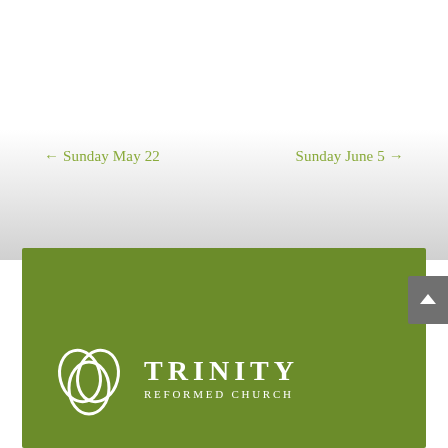← Sunday May 22
Sunday June 5 →
[Figure (logo): Trinity Reformed Church logo on green background: interlocking circles symbol in white with TRINITY REFORMED CHURCH text in white serif letters]